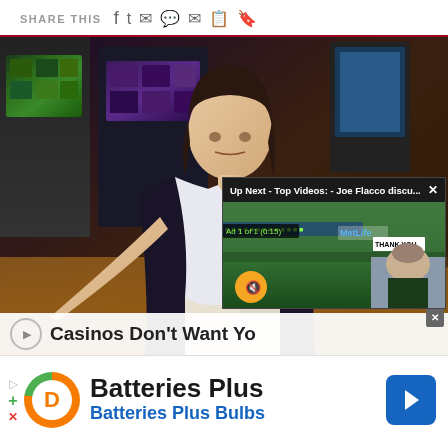SHARE THIS [social icons: Facebook, Twitter, WhatsApp, Chat, Email, Copy, Bookmark]
[Figure (photo): A woman in a white shirt and dark blazer sits inside a casino, surrounded by slot machines and gaming chairs. In the lower right, a video overlay reads 'Up Next - Top Videos: - Joe Flacco discu...' with a close button (x), an ad label 'Ad 1 of 1 (0:15)', a MetLife stadium background, a muted/speaker icon, and a close X button. The lower left shows a partial article title 'Casinos Don't Want Yo...' with a play button circle.]
[Figure (photo): Advertisement banner: Batteries Plus / Batteries Plus Bulbs with logo (orange D with green plus, circular design) on white background, plus a blue navigation arrow icon on the right.]